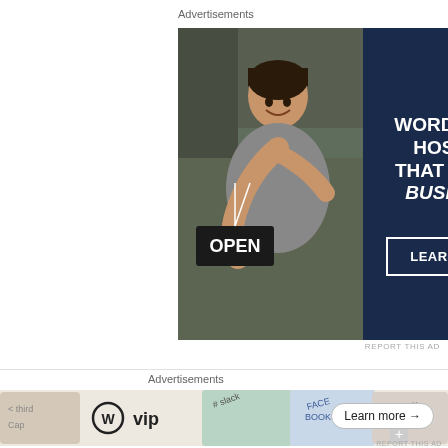Advertisements
[Figure (screenshot): WordPress VIP hosting advertisement banner showing a woman smiling and holding an OPEN sign, with dark navy right panel containing a white P logo, headline 'WORDPRESS HOSTING THAT MEANS BUSINESS.' and a LEARN MORE button]
REPORT THIS AD
Speaking of shells, the beach is littered with them. They're mostly white and grey, but there were a
Advertisements
[Figure (screenshot): WordPress VIP bottom banner advertisement with WP logo, 'vip' text, colorful background cards showing various logos, and a 'Learn more →' button]